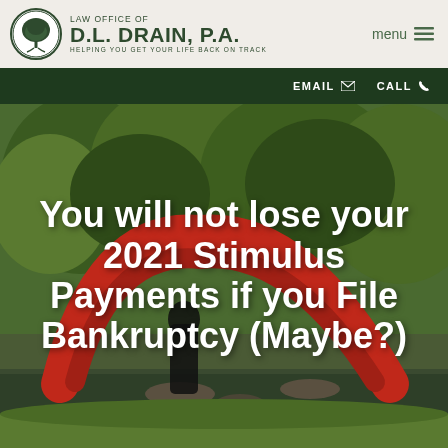Law Office of D.L. Drain, P.A. — Helping You Get Your Life Back On Track | menu
EMAIL | CALL
You will not lose your 2021 Stimulus Payments if you File Bankruptcy (Maybe?)